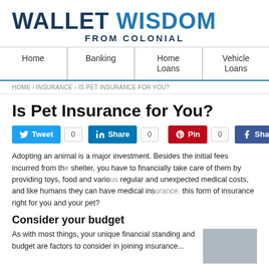WALLET WISDOM FROM COLONIAL
Home | Banking | Home Loans | Vehicle Loans
HOME › INSURANCE › IS PET INSURANCE FOR YOU?
Is Pet Insurance for You?
Tweet 0 | Share 0 | Pin 0 | Share
Adopting an animal is a major investment. Besides the initial fees incurred from the shelter, you have to financially take care of them by providing toys, food and various regular and unexpected medical costs, and like humans they can have medical ins... this form of insurance right for you and your pet?
Consider your budget
As with most things, your unique financial standing and budget are factors to consider in joining insurance...
[Figure (photo): Photo of a person, partially visible at bottom right of page]